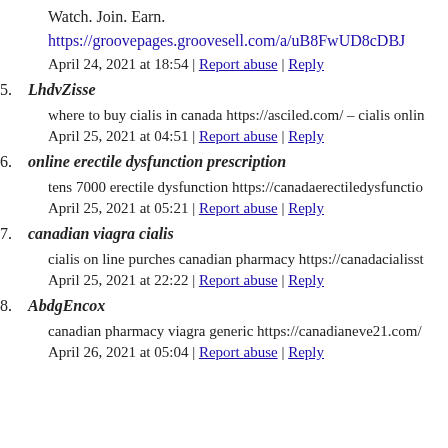Watch. Join. Earn.
https://groovepages.groovesell.com/a/uB8FwUD8cDBJ
April 24, 2021 at 18:54 | Report abuse | Reply
5. LhdvZisse
where to buy cialis in canada https://asciled.com/ – cialis onlin
April 25, 2021 at 04:51 | Report abuse | Reply
6. online erectile dysfunction prescription
tens 7000 erectile dysfunction https://canadaerectiledysfunctio
April 25, 2021 at 05:21 | Report abuse | Reply
7. canadian viagra cialis
cialis on line purches canadian pharmacy https://canadacialisst
April 25, 2021 at 22:22 | Report abuse | Reply
8. AbdgEncox
canadian pharmacy viagra generic https://canadianeve21.com/
April 26, 2021 at 05:04 | Report abuse | Reply